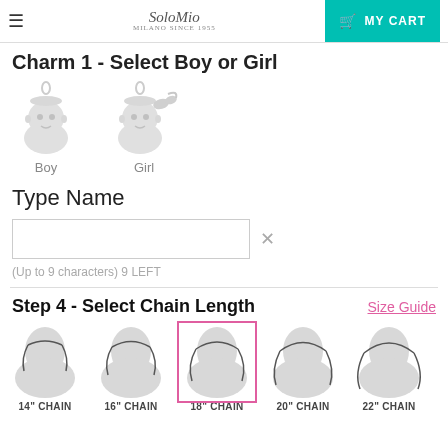Solo Mio Milano Since 1955 | MY CART
Charm 1 - Select Boy or Girl
[Figure (illustration): Two silver charm options: Boy charm (boy face) and Girl charm (girl face with bow), each with a loop for attachment. Labeled 'Boy' and 'Girl' below.]
Type Name
(Up to 9 characters) 9 LEFT
Step 4 - Select Chain Length
Size Guide
[Figure (illustration): Five jewelry bust silhouettes showing chain lengths: 14" CHAIN, 16" CHAIN, 18" CHAIN (selected, highlighted with pink border), 20" CHAIN, 22" CHAIN]
14" CHAIN   16" CHAIN   18" CHAIN   20" CHAIN   22" CHAIN